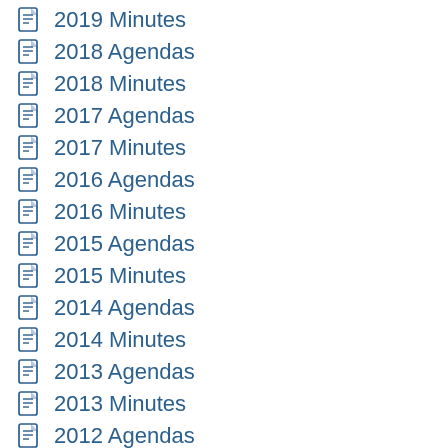2019 Minutes
2018 Agendas
2018 Minutes
2017 Agendas
2017 Minutes
2016 Agendas
2016 Minutes
2015 Agendas
2015 Minutes
2014 Agendas
2014 Minutes
2013 Agendas
2013 Minutes
2012 Agendas